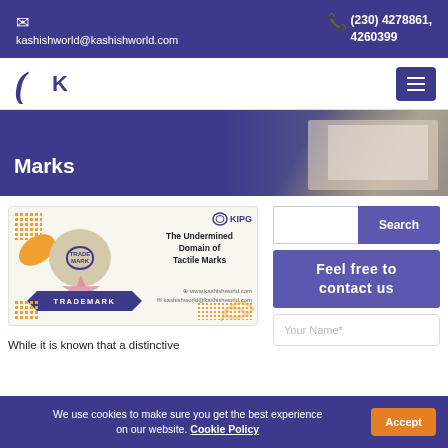kashishworld@kashishworld.com  (230) 4278861, 4260399
[Figure (logo): Kashish World logo with C and K letters in purple]
The Undermined Domain of Tactile Marks
[Figure (illustration): KIPG branded card showing trademark imagery with orange leaf, gray circle with trademark stamp, blue ribbon with TRADEMARK text, and article title The Undermined Domain of Tactile Marks]
While it is known that a distinctive
Search
Feel free to contact us
Your Name*
We use cookies to make sure you get the best experience on our website. Cookie Policy  Accept